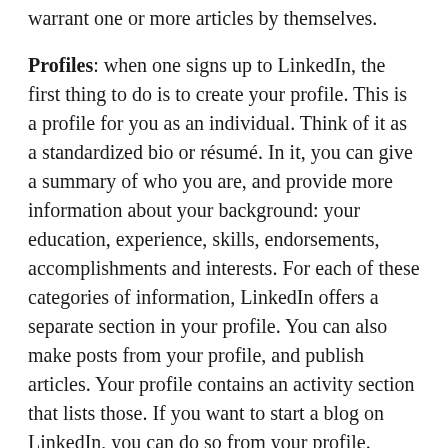warrant one or more articles by themselves.
Profiles: when one signs up to LinkedIn, the first thing to do is to create your profile. This is a profile for you as an individual. Think of it as a standardized bio or résumé. In it, you can give a summary of who you are, and provide more information about your background: your education, experience, skills, endorsements, accomplishments and interests. For each of these categories of information, LinkedIn offers a separate section in your profile. You can also make posts from your profile, and publish articles. Your profile contains an activity section that lists those. If you want to start a blog on LinkedIn, you can do so from your profile. Profile sections can be added in more than one language.
Networking Tools / Connections: LinkedIn not only allows members to create profiles but also connections to each other in an online social network. These connections may represent real-world professional relationships, but don't necessarily do